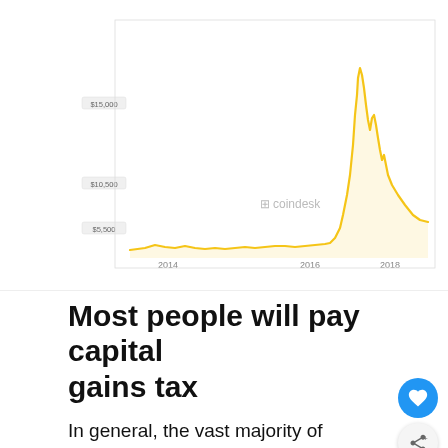[Figure (continuous-plot): Bitcoin price chart from CoinDesk showing price history from 2014 to 2019. The line is gold/yellow colored, staying low from 2014–2016, rising sharply in 2017–2018 with a peak around $15,000–$20,000, then declining. Y-axis labels: $5,500, $10,500, $15,000. X-axis labels: 2014, 2016, 2018. Toolbar shows Linear, Log, time period options (1h, 6h, 12h, 1d, 1w, 1m, 3m, 6m, 1y, all), and date range 07/05/2043 to 01/13/2005. CoinDesk watermark visible.]
Most people will pay capital gains tax
In general, the vast majority of people will be liable to capital gains tax if your investment has appreciated in